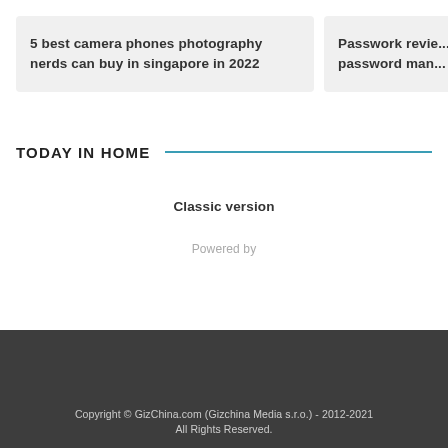5 best camera phones photography nerds can buy in singapore in 2022
Passwork revie... password man...
TODAY IN HOME
Classic version
Powered by
Copyright © GizChina.com (Gizchina Media s.r.o.) - 2012-2021 All Rights Reserved.